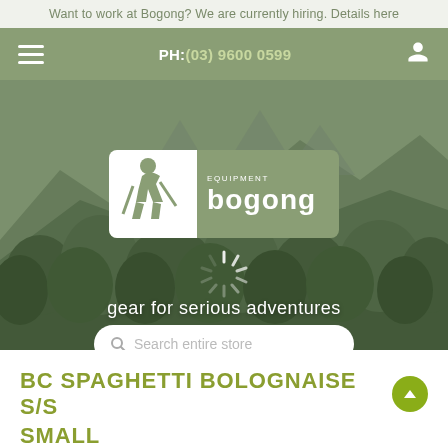Want to work at Bogong? We are currently hiring. Details here
PH: (03) 9600 0599
[Figure (screenshot): Hero banner showing mountain forest landscape with Bogong Equipment logo, loading spinner, tagline 'gear for serious adventures', and search bar]
BC SPAGHETTI BOLOGNAISE S/S SMALL